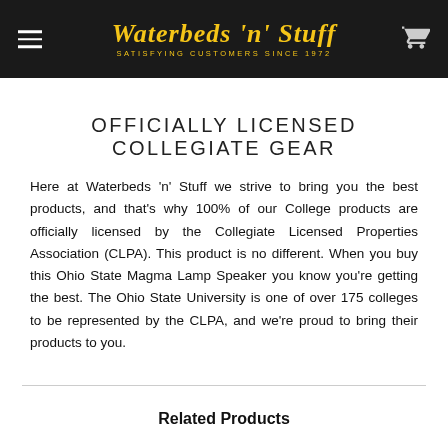Waterbeds 'n' Stuff — SATISFYING CUSTOMERS SINCE 1972
OFFICIALLY LICENSED COLLEGIATE GEAR
Here at Waterbeds 'n' Stuff we strive to bring you the best products, and that's why 100% of our College products are officially licensed by the Collegiate Licensed Properties Association (CLPA). This product is no different. When you buy this Ohio State Magma Lamp Speaker you know you're getting the best. The Ohio State University is one of over 175 colleges to be represented by the CLPA, and we're proud to bring their products to you.
Related Products